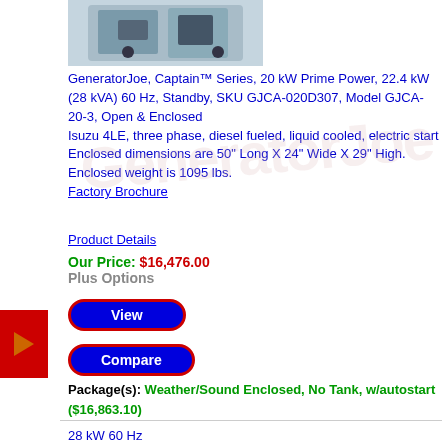[Figure (photo): Generator product image top — blue/grey industrial generator unit]
GeneratorJoe, Captain™ Series, 20 kW Prime Power, 22.4 kW (28 kVA) 60 Hz, Standby, SKU GJCA-020D307, Model GJCA-20-3, Open & Enclosed
Isuzu 4LE, three phase, diesel fueled, liquid cooled, electric start
Enclosed dimensions are 50" Long X 24" Wide X 29" High.
Enclosed weight is 1095 lbs.
Factory Brochure
Product Details
Our Price: $16,476.00
Plus Options
View
Compare
Package(s): Weather/Sound Enclosed, No Tank, w/autostart ($16,863.10)
28 kW 60 Hz
23 kW 50 Hz
[Figure (photo): Generator product image bottom — diesel engine generator unit]